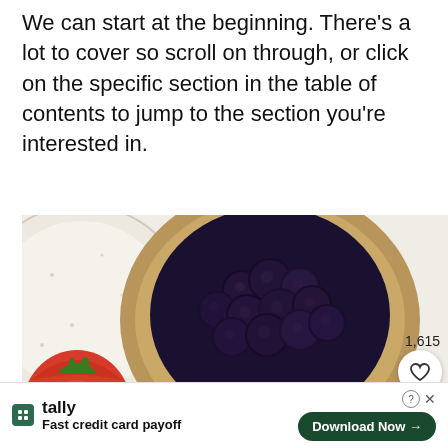We can start at the beginning. There's a lot to cover so scroll on through, or click on the specific section in the table of contents to jump to the section you're interested in.
[Figure (photo): Overhead food photography showing: a wooden bowl filled with blueberries (top center), a speckled ceramic plate (top left), cut strawberries on the left side, and a large acai smoothie bowl topped with blueberries, granola, and strawberries (bottom center). Like count 1,615 with heart icon and search icon visible on right side.]
1,615
[Figure (screenshot): Advertisement banner for Tally app: logo icon, brand name 'tally', tagline 'Fast credit card payoff', and a dark green 'Download Now →' button. Close/question icons in top right corner.]